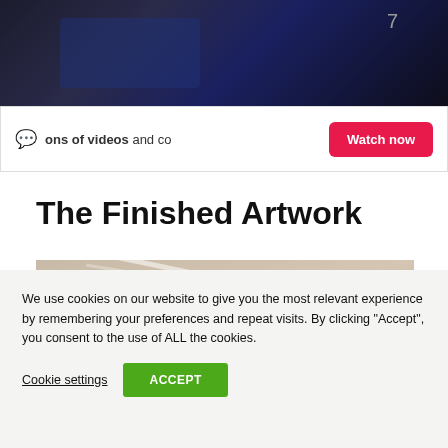[Figure (screenshot): Dark video thumbnail showing person in blue clothing against dark background, with number 7 visible]
[Figure (screenshot): Watch now promotional banner with chat icon, text 'ons of videos and co' and a red 'Watch now' button]
The Finished Artwork
[Figure (photo): Partial photo of finished artwork, showing beige/taupe surface with diagonal light streaks]
We use cookies on our website to give you the most relevant experience by remembering your preferences and repeat visits. By clicking “Accept”, you consent to the use of ALL the cookies.
Cookie settings
ACCEPT